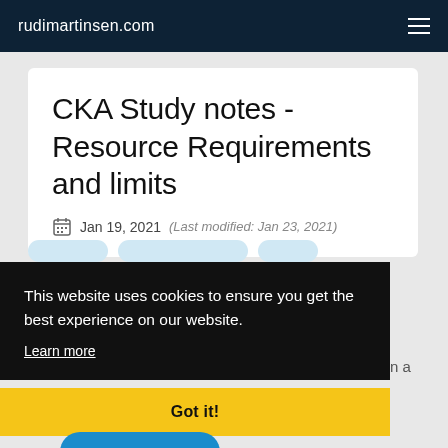rudimartinsen.com
CKA Study notes - Resource Requirements and limits
Jan 19, 2021  (Last modified: Jan 23, 2021)
This website uses cookies to ensure you get the best experience on our website.
Learn more
Got it!